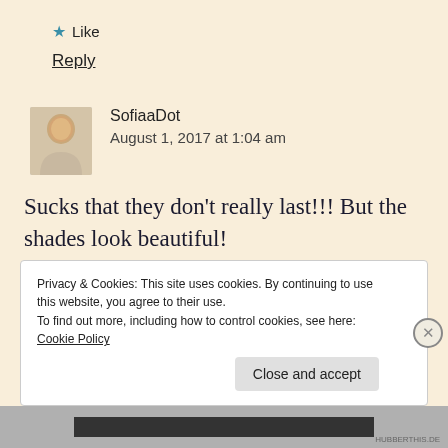★ Like
Reply
SofiaaDot
August 1, 2017 at 1:04 am
Sucks that they don't really last!!! But the shades look beautiful!
Privacy & Cookies: This site uses cookies. By continuing to use this website, you agree to their use.
To find out more, including how to control cookies, see here: Cookie Policy
Close and accept